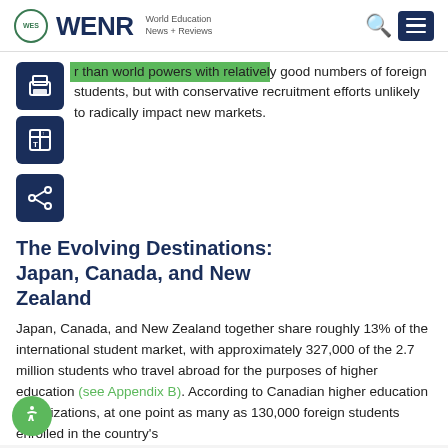WENR World Education News + Reviews
r than world powers with relatively good numbers of foreign students, but with conservative recruitment efforts unlikely to radically impact new markets.
The Evolving Destinations: Japan, Canada, and New Zealand
Japan, Canada, and New Zealand together share roughly 13% of the international student market, with approximately 327,000 of the 2.7 million students who travel abroad for the purposes of higher education (see Appendix B). According to Canadian higher education organizations, at one point as many as 130,000 foreign students enrolled in the country's